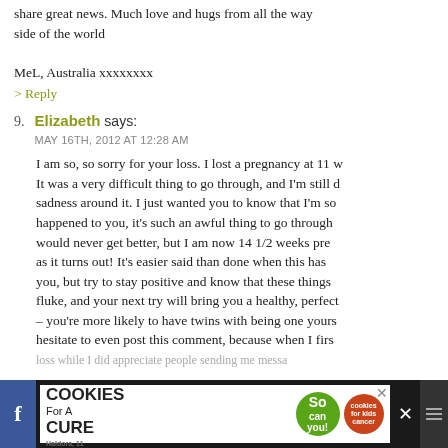share great news. Much love and hugs from all the way side of the world
MeL, Australia xxxxxxxx
> Reply
9. Elizabeth says: MAY 16TH, 2012 AT 12:28 AM
I am so, so sorry for your loss. I lost a pregnancy at 11 w It was a very difficult thing to go through, and I'm still d sadness around it. I just wanted you to know that I'm so happened to you, it's such an awful thing to go through would never get better, but I am now 14 1/2 weeks pre as it turns out! It's easier said than done when this has you, but try to stay positive and know that these things fluke, and your next try will bring you a healthy, perfect – you're more likely to have twins with being one yours hesitate to even post this comment, because when I firs loss while I did appreciate people sending me messa
[Figure (screenshot): Advertisement banner: I Bake COOKIES For A CURE - So can you! cookies for kids cancer logo]